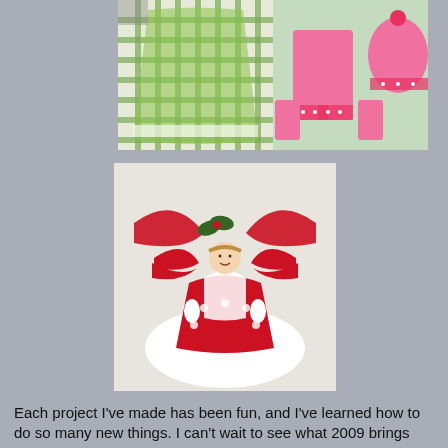[Figure (photo): Two side-by-side craft photos: left shows a green gingham fabric bag/apron on a sewing table; right shows pink knitted pants, socks and a pink pom-pom hat laid out on a cutting mat.]
[Figure (photo): A handmade fabric angel/doll decoration with a red and white snowflake-patterned dress, white wings, and red bow/holly accents, displayed on a white surface.]
Each project I've made has been fun, and I've learned how to do so many new things. I can't wait to see what 2009 brings me!